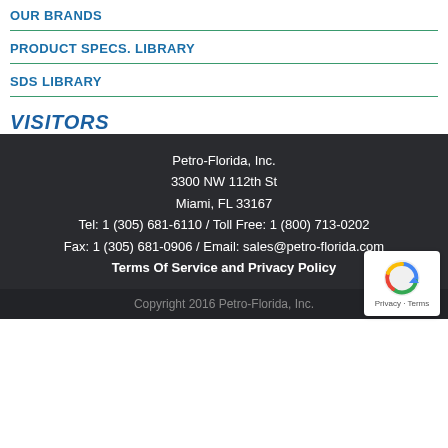OUR BRANDS
PRODUCT SPECS. LIBRARY
SDS LIBRARY
VISITORS
Petro-Florida, Inc.
3300 NW 112th St
Miami, FL 33167
Tel: 1 (305) 681-6110 / Toll Free: 1 (800) 713-0202
Fax: 1 (305) 681-0906 / Email: sales@petro-florida.com
Terms Of Service and Privacy Policy
Copyright 2016 Petro-Florida, Inc.